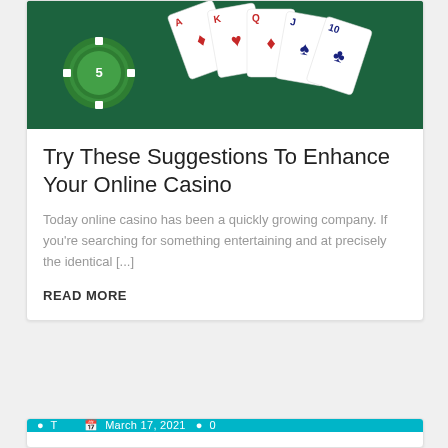[Figure (photo): Casino-themed photo showing playing cards (royal flush) and green poker chips on a green felt table surface]
Try These Suggestions To Enhance Your Online Casino
Today online casino has been a quickly growing company. If you're searching for something entertaining and at precisely the identical [...]
READ MORE
March 17, 2021